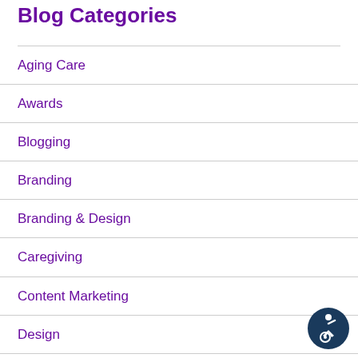Blog Categories
Aging Care
Awards
Blogging
Branding
Branding & Design
Caregiving
Content Marketing
Design
Email Marketing
Getting the Most from MOST